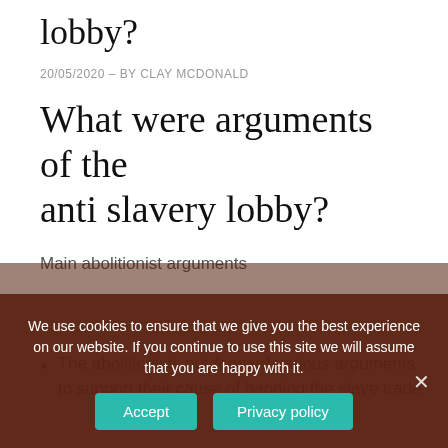lobby?
20/05/2020 – BY CLAY MCDONALD
What were arguments of the anti slavery lobby?
Main abolitionist arguments
The abolitionists put forward various arguments to support their cause of banning the slave trade.
We use cookies to ensure that we give you the best experience on our website. If you continue to use this site we will assume that you are happy with it.